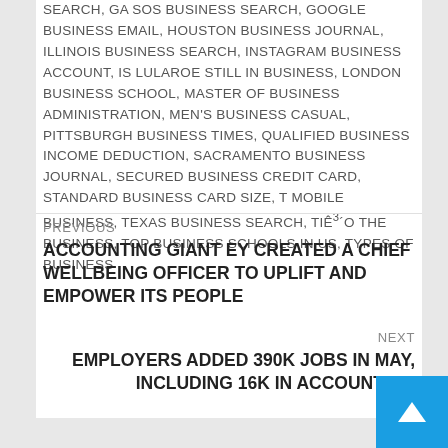SEARCH, GA SOS BUSINESS SEARCH, GOOGLE BUSINESS EMAIL, HOUSTON BUSINESS JOURNAL, ILLINOIS BUSINESS SEARCH, INSTAGRAM BUSINESS ACCOUNT, IS LULAROE STILL IN BUSINESS, LONDON BUSINESS SCHOOL, MASTER OF BUSINESS ADMINISTRATION, MEN'S BUSINESS CASUAL, PITTSBURGH BUSINESS TIMES, QUALIFIED BUSINESS INCOME DEDUCTION, SACRAMENTO BUSINESS JOURNAL, SECURED BUSINESS CREDIT CARD, STANDARD BUSINESS CARD SIZE, T MOBILE BUSINESS, TEXAS BUSINESS SEARCH, TIÊ³´O THE BUSINESS, TOP BUSINESS SCHOOLS IN US, TYPES OF BUSINESS
PREVIOUS
ACCOUNTING GIANT EY CREATED A CHIEF WELLBEING OFFICER TO UPLIFT AND EMPOWER ITS PEOPLE
NEXT
EMPLOYERS ADDED 390K JOBS IN MAY, INCLUDING 16K IN ACCOUNTING